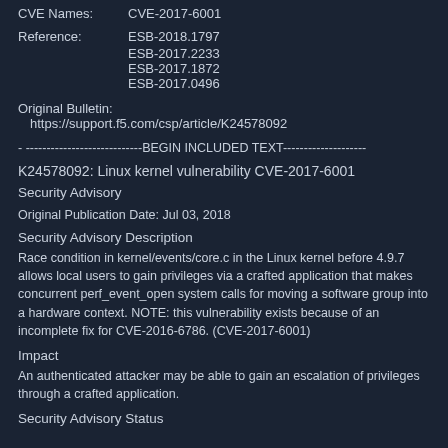CVE Names: CVE-2017-6001
Reference: ESB-2018.1797
ESB-2017.2233
ESB-2017.1872
ESB-2017.0496
Original Bulletin:
  https://support.f5.com/csp/article/K24578092
- ----------------------------BEGIN INCLUDED TEXT--------------------
K24578092: Linux kernel vulnerability CVE-2017-6001
Security Advisory
Original Publication Date: Jul 03, 2018
Security Advisory Description
Race condition in kernel/events/core.c in the Linux kernel before 4.9.7 allows local users to gain privileges via a crafted application that makes concurrent perf_event_open system calls for moving a software group into a hardware context. NOTE: this vulnerability exists because of an incomplete fix for CVE-2016-6786. (CVE-2017-6001)
Impact
An authenticated attacker may be able to gain an escalation of privileges through a crafted application.
Security Advisory Status